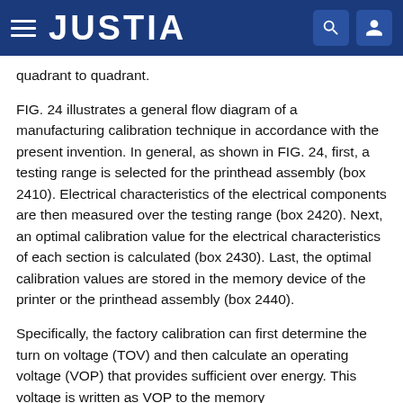JUSTIA
quadrant to quadrant.
FIG. 24 illustrates a general flow diagram of a manufacturing calibration technique in accordance with the present invention. In general, as shown in FIG. 24, first, a testing range is selected for the printhead assembly (box 2410). Electrical characteristics of the electrical components are then measured over the testing range (box 2420). Next, an optimal calibration value for the electrical characteristics of each section is calculated (box 2430). Last, the optimal calibration values are stored in the memory device of the printer or the printhead assembly (box 2440).
Specifically, the factory calibration can first determine the turn on voltage (TOV) and then calculate an operating voltage (VOP) that provides sufficient over energy. This voltage is written as VOP to the memory